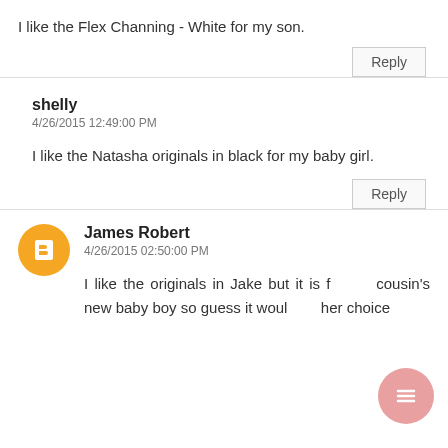I like the Flex Channing - White for my son.
Reply
shelly
4/26/2015 12:49:00 PM
I like the Natasha originals in black for my baby girl.
Reply
James Robert
4/26/2015 02:50:00 PM
I like the originals in Jake but it is for my cousin's new baby boy so guess it would be her choice